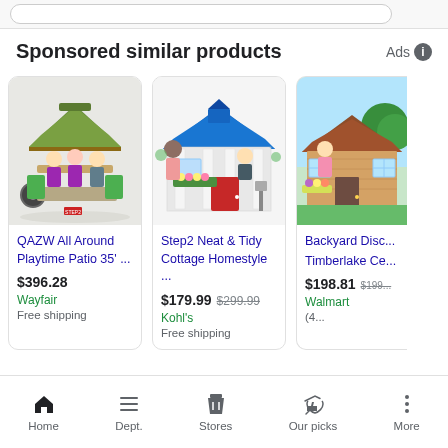Sponsored similar products
[Figure (photo): QAZW All Around Playtime Patio 35' product photo with children playing]
QAZW All Around Playtime Patio 35' ...
$396.28
Wayfair
Free shipping
[Figure (photo): Step2 Neat & Tidy Cottage Homestyle product photo with children playing]
Step2 Neat & Tidy Cottage Homestyle ...
$179.99 $299.99
Kohl's
Free shipping
[Figure (photo): Backyard Discovery Timberlake Ce... product photo]
Backyard Disc... Timberlake Ce...
$198.81 $199...
Walmart
(4...
Home   Dept.   Stores   Our picks   More